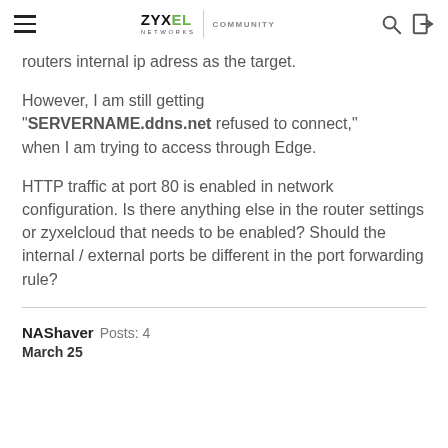ZYXEL NETWORKS | COMMUNITY
routers internal ip adress as the target.

However, I am still getting "SERVERNAME.ddns.net refused to connect," when I am trying to access through Edge.

HTTP traffic at port 80 is enabled in network configuration. Is there anything else in the router settings or zyxelcloud that needs to be enabled? Should the internal / external ports be different in the port forwarding rule?
NAShaver   Posts: 4
March 25